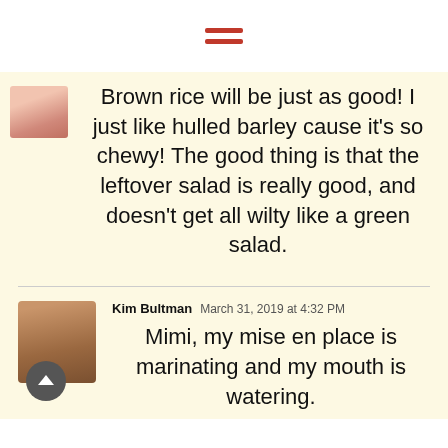≡ (hamburger menu icon)
Brown rice will be just as good! I just like hulled barley cause it's so chewy! The good thing is that the leftover salad is really good, and doesn't get all wilty like a green salad.
Kim Bultman  March 31, 2019 at 4:32 PM
Mimi, my mise en place is marinating and my mouth is watering.